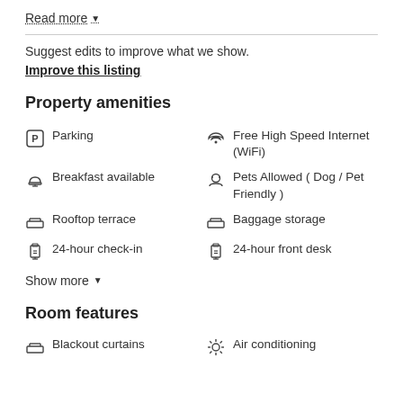Read more ▾
Suggest edits to improve what we show.
Improve this listing
Property amenities
Parking
Free High Speed Internet (WiFi)
Breakfast available
Pets Allowed ( Dog / Pet Friendly )
Rooftop terrace
Baggage storage
24-hour check-in
24-hour front desk
Show more ▾
Room features
Blackout curtains
Air conditioning